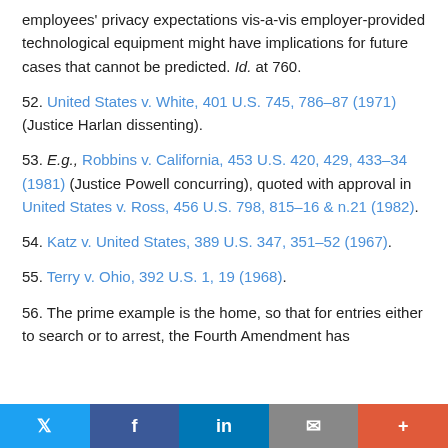employees' privacy expectations vis-a-vis employer-provided technological equipment might have implications for future cases that cannot be predicted. Id. at 760.
52. United States v. White, 401 U.S. 745, 786–87 (1971) (Justice Harlan dissenting).
53. E.g., Robbins v. California, 453 U.S. 420, 429, 433–34 (1981) (Justice Powell concurring), quoted with approval in United States v. Ross, 456 U.S. 798, 815–16 & n.21 (1982).
54. Katz v. United States, 389 U.S. 347, 351–52 (1967).
55. Terry v. Ohio, 392 U.S. 1, 19 (1968).
56. The prime example is the home, so that for entries either to search or to arrest, the Fourth Amendment has
Twitter | Facebook | LinkedIn | Email | More